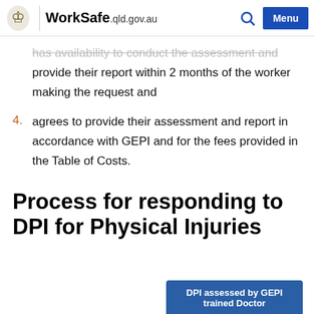WorkSafe.qld.gov.au
has availability to conduct the assessment and provide their report within 2 months of the worker making the request and
4. agrees to provide their assessment and report in accordance with GEPI and for the fees provided in the Table of Costs.
Process for responding to DPI for Physical Injuries
DPI assessed by GEPI trained Doctor